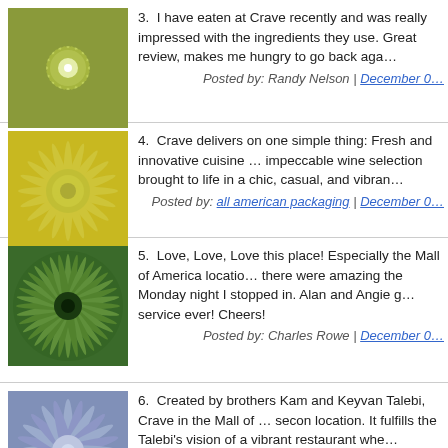3. I have eaten at Crave recently and was really impressed with the ingredients they use. Great review, makes me hungry to go back aga...
4. Crave delivers on one simple thing: Fresh and innovative cuisine ... impeccable wine selection brought to life in a chic, casual, and vibran...
5. Love, Love, Love this place! Especially the Mall of America locatio... there were amazing the Monday night I stopped in. Alan and Angie g... service ever! Cheers!
6. Created by brothers Kam and Keyvan Talebi, Crave in the Mall of ... secon location. It fulfills the Talebi's vision of a vibrant restaurant whe... atmosphere and the energy are second to none. Crave delivers on o... Fresh and innovative cuisine along with an impeccable wine selection a chic, casual, and vibrant atmosphere.
7. We were there over the holidays and enjoyed it thoroughly. The M... our favorite and the Posto Shrimp took a close second. The service...